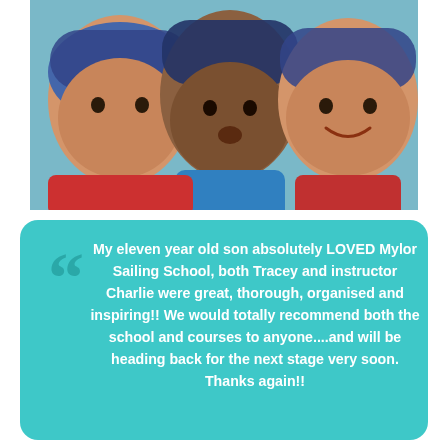[Figure (photo): Three children wearing life jackets and sailing helmets, taking a selfie close-up. Two girls and one boy making playful faces.]
My eleven year old son absolutely LOVED Mylor Sailing School, both Tracey and instructor Charlie were great, thorough, organised and inspiring!! We would totally recommend both the school and courses to anyone....and will be heading back for the next stage very soon. Thanks again!!